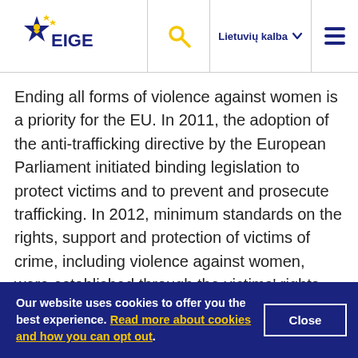EIGE | Lietuvių kalba
Ending all forms of violence against women is a priority for the EU. In 2011, the adoption of the anti-trafficking directive by the European Parliament initiated binding legislation to protect victims and to prevent and prosecute trafficking. In 2012, minimum standards on the rights, support and protection of victims of crime, including violence against women, were established through the victims' rights directive. On a similar note, the
Our website uses cookies to offer you the best experience. Read more about cookies and how you can opt out.